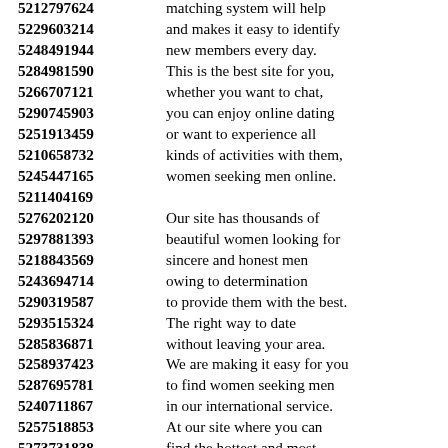5212797624 matching system will help
5229603214 and makes it easy to identify
5248491944 new members every day.
5284981590 This is the best site for you,
5266707121 whether you want to chat,
5290745903 you can enjoy online dating
5251913459 or want to experience all
5210658732 kinds of activities with them,
5245447165 women seeking men online.
5211404169
5276202120 Our site has thousands of
5297881393 beautiful women looking for
5218843569 sincere and honest men
5243694714 owing to determination
5290319587 to provide them with the best.
5293515324 The right way to date
5285836871 without leaving your area.
5258937423 We are making it easy for you
5287695781 to find women seeking men
5240711867 in our international service.
5257518853 At our site where you can
5273731838 find the hottest and most
5265932165 beautiful women in all
5215987630 classifieds in your local area.
5250144157 Why would a beautiful girl